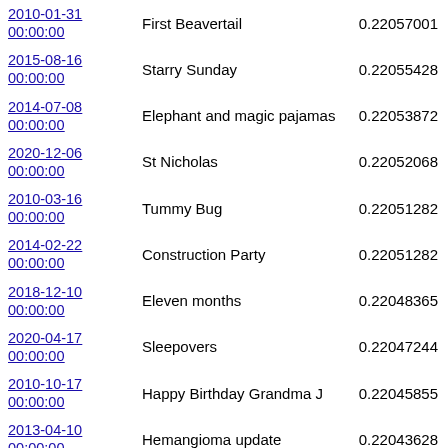| Date | Title | Score |
| --- | --- | --- |
| 2010-01-31 00:00:00 | First Beavertail | 0.22057001 |
| 2015-08-16 00:00:00 | Starry Sunday | 0.22055428 |
| 2014-07-08 00:00:00 | Elephant and magic pajamas | 0.22053872 |
| 2020-12-06 00:00:00 | St Nicholas | 0.22052068 |
| 2010-03-16 00:00:00 | Tummy Bug | 0.22051282 |
| 2014-02-22 00:00:00 | Construction Party | 0.22051282 |
| 2018-12-10 00:00:00 | Eleven months | 0.22048365 |
| 2020-04-17 00:00:00 | Sleepovers | 0.22047244 |
| 2010-10-17 00:00:00 | Happy Birthday Grandma J | 0.22045855 |
| 2013-04-10 00:00:00 | Hemangioma update | 0.22043628 |
| 2018-06-30 00:00:00 | A quiet house | 0.22033899 |